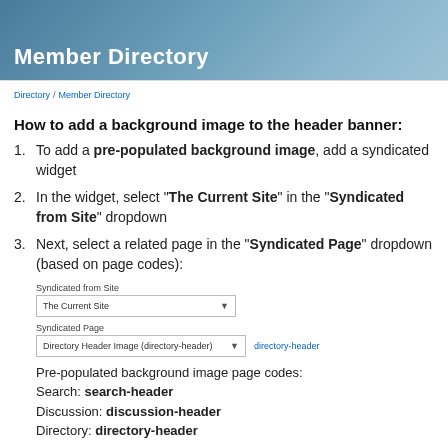Member Directory
Directory / Member Directory
How to add a background image to the header banner:
To add a pre-populated background image, add a syndicated widget
In the widget, select "The Current Site" in the "Syndicated from Site" dropdown
Next, select a related page in the "Syndicated Page" dropdown (based on page codes):
[Figure (screenshot): Screenshot showing two dropdowns: 'Syndicated from Site' with 'The Current Site' selected, and 'Syndicated Page' with 'Directory Header Image (directory-header)' selected, with a 'directory-header' link to the right.]
Pre-populated background image page codes:
Search: search-header
Discussion: discussion-header
Directory: directory-header